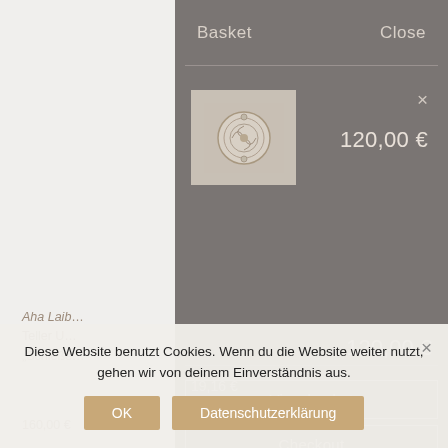Aha Laib
Teller U…
„Schieße…
160,00 €
Basket
Close
[Figure (photo): A silver jewelry bead/charm, round with ornate decorative pattern]
×
120,00 €
120,00 €
19,16 €
View basket
Checkout
Diese Website benutzt Cookies. Wenn du die Website weiter nutzt, gehen wir von deinem Einverständnis aus.
OK
Datenschutzerklärung